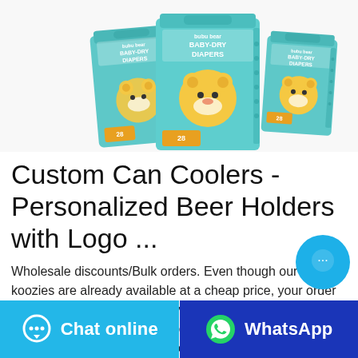[Figure (photo): Product photo showing three boxes/packages of 'bubu bear Baby-Dry Diapers' in teal/turquoise packaging with a cartoon yellow bear character, arranged in a group on a white background.]
Custom Can Coolers - Personalized Beer Holders with Logo ...
Wholesale discounts/Bulk orders. Even though our custom koozies are already available at a cheap price, your order cost continues to drop when you shop in wholesale amounts. And don't worry about shipping fees! Your custom koozies Ship Free when you spend $75 or
[Figure (illustration): Circular chat bubble button icon in bright blue with three dots indicating a chat interface.]
Chat online
WhatsApp